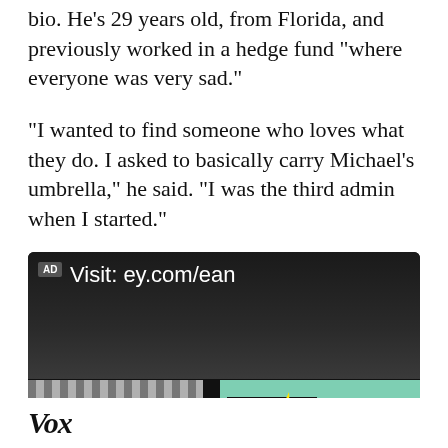bio. He's 29 years old, from Florida, and previously worked in a hedge fund “where everyone was very sad.”
“I wanted to find someone who loves what they do. I asked to basically carry Michael’s umbrella,” he said. “I was the third admin when I started.”
[Figure (screenshot): Advertisement banner showing 'AD Visit: ey.com/ean' text on dark background with EY logo building photo below]
Vox